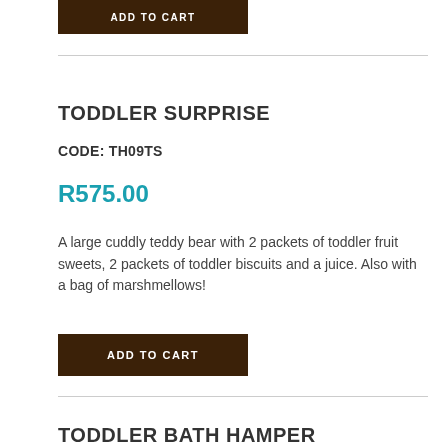ADD TO CART
TODDLER SURPRISE
CODE: TH09TS
R575.00
A large cuddly teddy bear with 2 packets of toddler fruit sweets, 2 packets of toddler biscuits and a juice. Also with a bag of marshmellows!
ADD TO CART
TODDLER BATH HAMPER